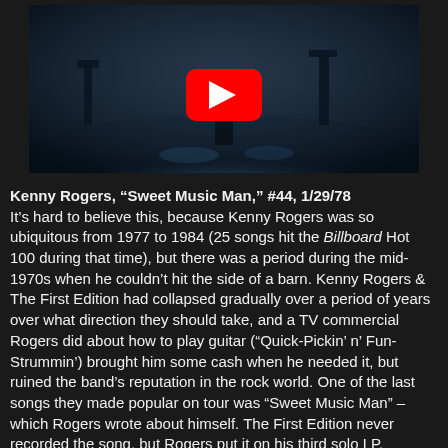[Figure (screenshot): YouTube video thumbnail showing a dark stage performance scene with blue lighting and a YouTube play button overlay]
Kenny Rogers, “Sweet Music Man,” #44, 1/29/78
It’s hard to believe this, because Kenny Rogers was so ubiquitous from 1977 to 1984 (25 songs hit the Billboard Hot 100 during that time), but there was a period during the mid-1970s when he couldn’t hit the side of a barn. Kenny Rogers & The First Edition had collapsed gradually over a period of years over what direction they should take, and a TV commercial Rogers did about how to play guitar (“Quick-Pickin’ n’ Fun-Strummin’) brought him some cash when he needed it, but ruined the band’s reputation in the rock world. One of the last songs they made popular on tour was “Sweet Music Man” – which Rogers wrote about himself. The First Edition never recorded the song, but Rogers put it on his third solo LP, Daytime Friends, and it became a minor pop hit as well as a top 10 hit on the country charts.
(Coincidentally, Rogers does not play a note of guitar on the